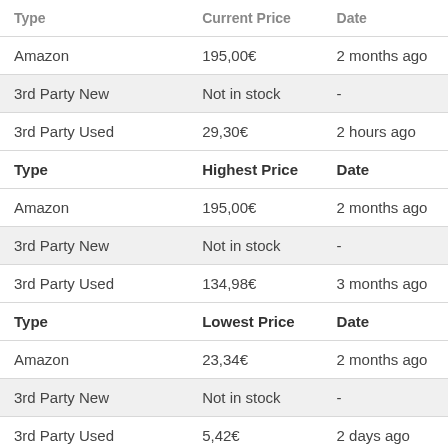| Type | Current Price | Date |
| --- | --- | --- |
| Amazon | 195,00€ | 2 months ago |
| 3rd Party New | Not in stock | - |
| 3rd Party Used | 29,30€ | 2 hours ago |
| Type | Highest Price | Date |
| Amazon | 195,00€ | 2 months ago |
| 3rd Party New | Not in stock | - |
| 3rd Party Used | 134,98€ | 3 months ago |
| Type | Lowest Price | Date |
| Amazon | 23,34€ | 2 months ago |
| 3rd Party New | Not in stock | - |
| 3rd Party Used | 5,42€ | 2 days ago |
| Type | Average Price | Date |
| Amazon | 29,60€ | - |